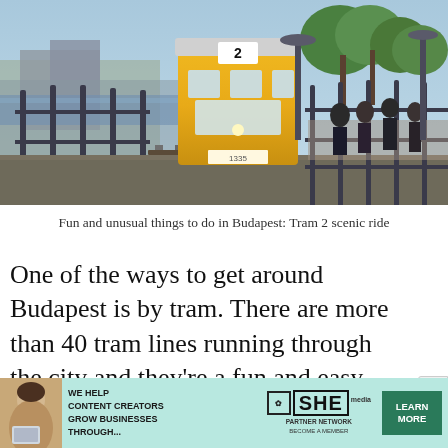[Figure (photo): Yellow Tram 2 on tracks along the Danube riverfront in Budapest, with decorative iron fences on both sides and people waiting on the platform to the right, trees and buildings visible in the background]
Fun and unusual things to do in Budapest: Tram 2 scenic ride
One of the ways to get around Budapest is by tram. There are more than 40 tram lines running through the city and they're a fun and easy way to get around. Aside from being a convenient form of transportation, there's a
[Figure (infographic): SHE Media advertisement banner: woman with laptop on left, text 'We help content creators grow businesses through...', SHE Partner Network logo, 'Learn More' button]